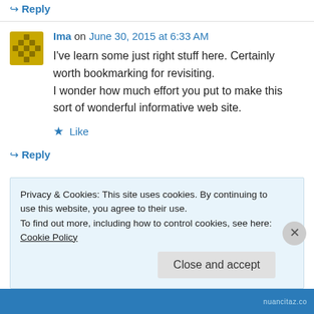↳ Reply
Ima on June 30, 2015 at 6:33 AM
I've learn some just right stuff here. Certainly worth bookmarking for revisiting. I wonder how much effort you put to make this sort of wonderful informative web site.
★ Like
↳ Reply
Privacy & Cookies: This site uses cookies. By continuing to use this website, you agree to their use.
To find out more, including how to control cookies, see here: Cookie Policy
Close and accept